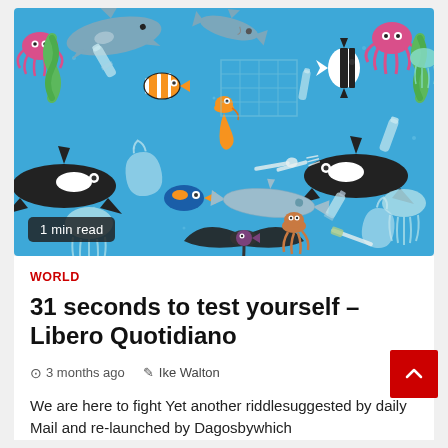[Figure (illustration): Colorful ocean illustration showing marine animals (sharks, orca whales, jellyfish, clownfish, blue fish, seahorses, dolphins, manta rays, squids, octopuses, sea turtles) mixed with plastic pollution items (bottles, bags, straws, cups, utensils, toothbrushes) on a blue background. A '1 min read' badge is shown in the bottom-left corner.]
WORLD
31 seconds to test yourself – Libero Quotidiano
3 months ago   Ike Walton
We are here to fight Yet another riddlesuggested by daily Mail and re-launched by Dagosbywhich